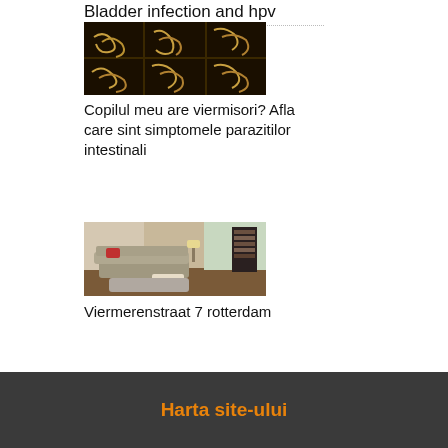Bladder infection and hpv
[Figure (photo): Grid of worm/parasite specimens on dark background, 3x2 grid of close-up images]
Copilul meu are viermisori? Afla care sint simptomele parazitilor intestinali
[Figure (photo): Interior photo of a modern living room with grey sofa, lamp, and bookshelves]
Viermerenstraat 7 rotterdam
Harta site-ului